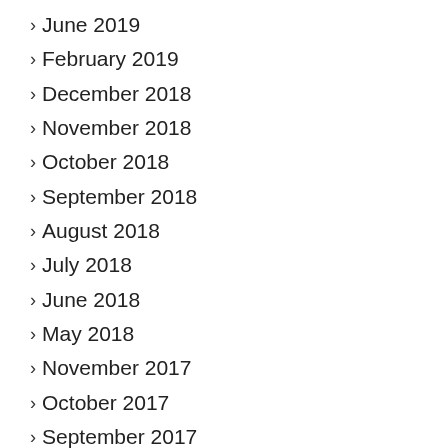June 2019
February 2019
December 2018
November 2018
October 2018
September 2018
August 2018
July 2018
June 2018
May 2018
November 2017
October 2017
September 2017
August 2017
July 2017
June 2017